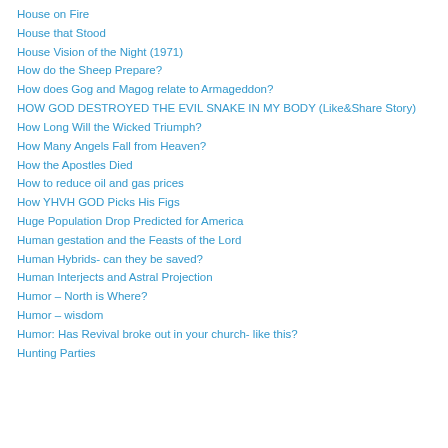House on Fire
House that Stood
House Vision of the Night (1971)
How do the Sheep Prepare?
How does Gog and Magog relate to Armageddon?
HOW GOD DESTROYED THE EVIL SNAKE IN MY BODY (Like&Share Story)
How Long Will the Wicked Triumph?
How Many Angels Fall from Heaven?
How the Apostles Died
How to reduce oil and gas prices
How YHVH GOD Picks His Figs
Huge Population Drop Predicted for America
Human gestation and the Feasts of the Lord
Human Hybrids- can they be saved?
Human Interjects and Astral Projection
Humor – North is Where?
Humor – wisdom
Humor: Has Revival broke out in your church- like this?
Hunting Parties